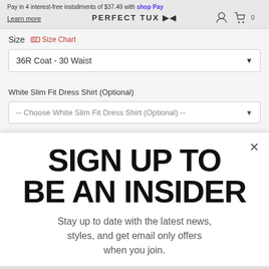Pay in 4 interest-free installments of $37.49 with Shop Pay
Learn more
Size  Size Chart
36R Coat - 30 Waist
White Slim Fit Dress Shirt (Optional)
-- Choose White Slim Fit Dress Shirt (Optional) --
SIGN UP TO BE AN INSIDER
Stay up to date with the latest news, styles, and get email only offers when you join.